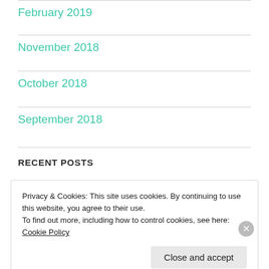February 2019
November 2018
October 2018
September 2018
RECENT POSTS
Privacy & Cookies: This site uses cookies. By continuing to use this website, you agree to their use. To find out more, including how to control cookies, see here: Cookie Policy
Close and accept